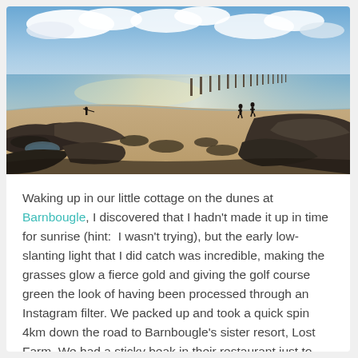[Figure (photo): Beach scene with rocky foreground, sandy shore, water reflecting sunlight, old pier posts extending into the sea, two people standing near the water, blue sky with white clouds.]
Waking up in our little cottage on the dunes at Barnbougle, I discovered that I hadn't made it up in time for sunrise (hint: I wasn't trying), but the early low-slanting light that I did catch was incredible, making the grasses glow a fierce gold and giving the golf course green the look of having been processed through an Instagram filter. We packed up and took a quick spin 4km down the road to Barnbougle's sister resort, Lost Farm. We had a sticky beak in their restaurant just to ogle the spectacularly dramatic view through the floor to ceiling...